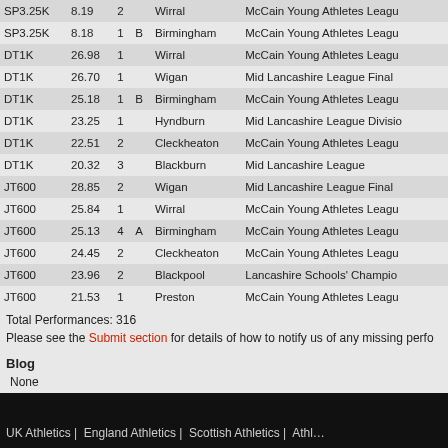| Event | Perf | Pos | Grade | Venue | Competition |
| --- | --- | --- | --- | --- | --- |
| SP3.25K | 8.19 | 2 |  | Wirral | McCain Young Athletes Leagu… |
| SP3.25K | 8.18 | 1 | B | Birmingham | McCain Young Athletes Leagu… |
| DT1K | 26.98 | 1 |  | Wirral | McCain Young Athletes Leagu… |
| DT1K | 26.70 | 1 |  | Wigan | Mid Lancashire League Final |
| DT1K | 25.18 | 1 | B | Birmingham | McCain Young Athletes Leagu… |
| DT1K | 23.25 | 1 |  | Hyndburn | Mid Lancashire League Divisio… |
| DT1K | 22.51 | 2 |  | Cleckheaton | McCain Young Athletes Leagu… |
| DT1K | 20.32 | 3 |  | Blackburn | Mid Lancashire League |
| JT600 | 28.85 | 2 |  | Wigan | Mid Lancashire League Final |
| JT600 | 25.84 | 1 |  | Wirral | McCain Young Athletes Leagu… |
| JT600 | 25.13 | 4 | A | Birmingham | McCain Young Athletes Leagu… |
| JT600 | 24.45 | 2 |  | Cleckheaton | McCain Young Athletes Leagu… |
| JT600 | 23.96 | 2 |  | Blackpool | Lancashire Schools' Champio… |
| JT600 | 21.53 | 1 |  | Preston | McCain Young Athletes Leagu… |
Total Performances: 316
Please see the Submit section for details of how to notify us of any missing perfo…
Blog
None
UK Athletics |  England Athletics |  Scottish Athletics |  Athl…